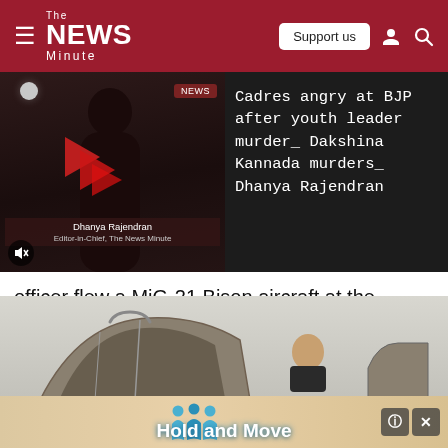The News Minute — navigation bar with Support us button
[Figure (screenshot): Video thumbnail showing a woman (Dhanya Rajendran) with red play button overlay and NEWS badge, mute icon, dark background]
Cadres angry at BJP after youth leader murder_ Dakshina Kannada murders_ Dhanya Rajendran
officer flew a MiG-21 Bison aircraft at the Jamnagar airbase in Gujarat.
[Figure (photo): Photo of MiG-21 Bison aircraft cockpit at Jamnagar airbase with a person visible, and a Hold and Move advertisement banner at the bottom]